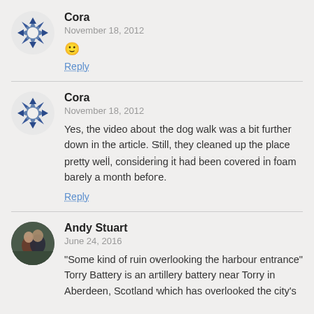Cora — November 18, 2012 — [smiley emoji] — Reply
Cora — November 18, 2012 — Yes, the video about the dog walk was a bit further down in the article. Still, they cleaned up the place pretty well, considering it had been covered in foam barely a month before. — Reply
Andy Stuart — June 24, 2016 — "Some kind of ruin overlooking the harbour entrance" Torry Battery is an artillery battery near Torry in Aberdeen, Scotland which has overlooked the city's